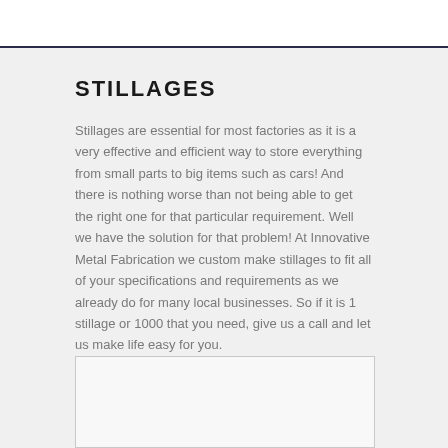STILLAGES
Stillages are essential for most factories as it is a very effective and efficient way to store everything from small parts to big items such as cars! And there is nothing worse than not being able to get the right one for that particular requirement. Well we have the solution for that problem! At Innovative Metal Fabrication we custom make stillages to fit all of your specifications and requirements as we already do for many local businesses. So if it is 1 stillage or 1000 that you need, give us a call and let us make life easy for you.
[Figure (photo): Image placeholder area for stillage product photo]